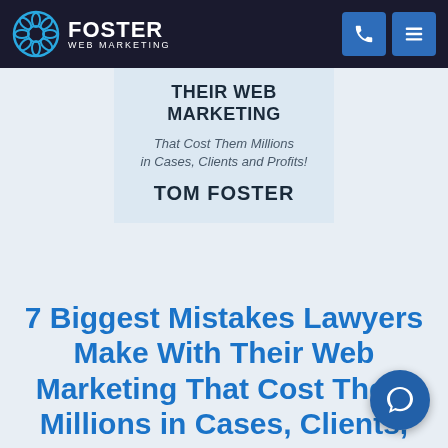Foster Web Marketing
[Figure (illustration): Book cover showing partial title 'THEIR WEB MARKETING', subtitle 'That Cost Them Millions in Cases, Clients and Profits!', and author 'TOM FOSTER' on a light blue background]
7 Biggest Mistakes Lawyers Make With Their Web Marketing That Cost Them Millions in Cases, Clients, and Profits